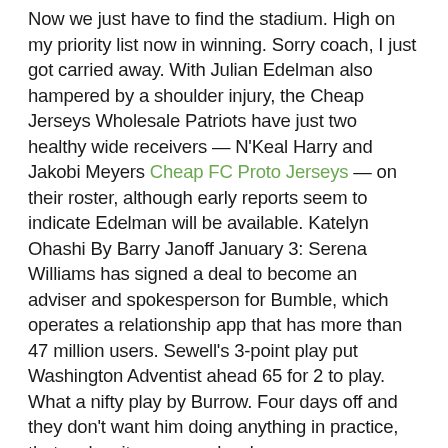Now we just have to find the stadium. High on my priority list now in winning. Sorry coach, I just got carried away. With Julian Edelman also hampered by a shoulder injury, the Cheap Jerseys Wholesale Patriots have just two healthy wide receivers — N'Keal Harry and Jakobi Meyers Cheap FC Proto Jerseys — on their roster, although early reports seem to indicate Edelman will be available. Katelyn Ohashi By Barry Janoff January 3: Serena Williams has signed a deal to become an adviser and spokesperson for Bumble, which operates a relationship app that has more than 47 million users. Sewell's 3-point play put Washington Adventist ahead 65 for 2 to play. What a nifty play by Burrow. Four days off and they don't want him doing anything in practice, that makes it very, very hard.